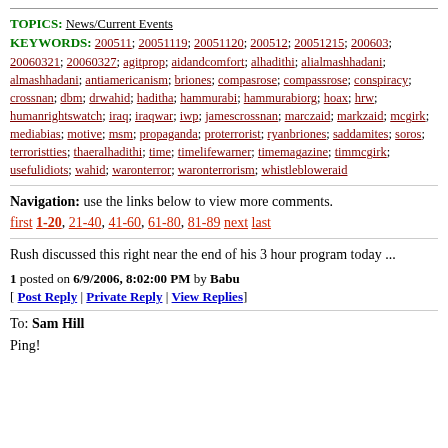TOPICS: News/Current Events
KEYWORDS: 200511; 20051119; 20051120; 200512; 20051215; 200603; 20060321; 20060327; agitprop; aidandcomfort; alhadithi; alialmashhadani; almashhadani; antiamericanism; briones; compasrose; compassrose; conspiracy; crossnan; dbm; drwahid; haditha; hammurabi; hammurabiorg; hoax; hrw; humanrightswatch; iraq; iraqwar; iwp; jamescrossnan; marczaid; markzaid; mcgirk; mediabias; motive; msm; propaganda; proterrorist; ryanbriones; saddamites; soros; terroristties; thaeralhadithi; time; timelifewarner; timemagazine; timmcgirk; usefulidiots; wahid; waronterror; waronterrorism; whistlebloweraid
Navigation: use the links below to view more comments. first 1-20, 21-40, 41-60, 61-80, 81-89 next last
Rush discussed this right near the end of his 3 hour program today ...
1 posted on 6/9/2006, 8:02:00 PM by Babu
[ Post Reply | Private Reply | View Replies]
To: Sam Hill
Ping!